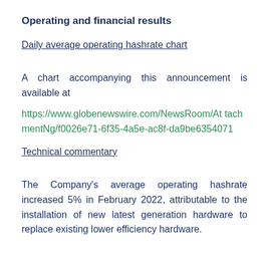Operating and financial results
Daily average operating hashrate chart
A chart accompanying this announcement is available at
https://www.globenewswire.com/NewsRoom/AttachmentNg/f0026e71-6f35-4a5e-ac8f-da9be6354071
Technical commentary
The Company’s average operating hashrate increased 5% in February 2022, attributable to the installation of new latest generation hardware to replace existing lower efficiency hardware.